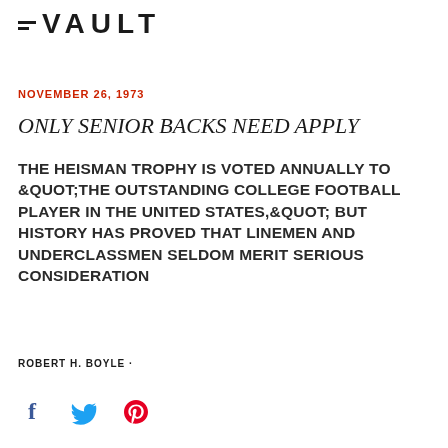≡ VAULT
NOVEMBER 26, 1973
ONLY SENIOR BACKS NEED APPLY
THE HEISMAN TROPHY IS VOTED ANNUALLY TO &QUOT;THE OUTSTANDING COLLEGE FOOTBALL PLAYER IN THE UNITED STATES,&QUOT; BUT HISTORY HAS PROVED THAT LINEMEN AND UNDERCLASSMEN SELDOM MERIT SERIOUS CONSIDERATION
ROBERT H. BOYLE ·
[Figure (infographic): Social media share icons: Facebook (blue f), Twitter (blue bird), Pinterest (red P)]